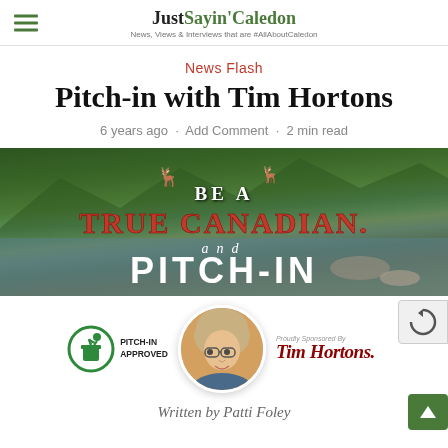JustSayin'Caledon — News, Views & Interviews that are #AllAboutCaledon
News Flash
Pitch-in with Tim Hortons
6 years ago · Add Comment · 2 min read
[Figure (photo): Outdoor nature scene with river and forested mountains. Text overlay reads: BE A TRUE CANADIAN and PITCH-IN]
[Figure (photo): Pitch-In program logo (figure putting trash in bin), PITCH-IN APPROVED text, a circular author photo of a blonde woman with glasses, and Tim Hortons Proudly Sponsored By logo]
Written by Patti Foley